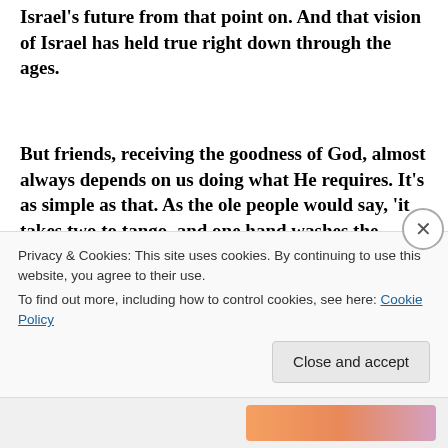Israel's future from that point on. And that vision of Israel has held true right down through the ages.
But friends, receiving the goodness of God, almost always depends on us doing what He requires. It's as simple as that. As the ole people would say, 'it takes two to tango, and one hand washes the other.' One person can't tango by themself, neither can one hand wash itself, and we need to remember that we are in a
Privacy & Cookies: This site uses cookies. By continuing to use this website, you agree to their use.
To find out more, including how to control cookies, see here: Cookie Policy